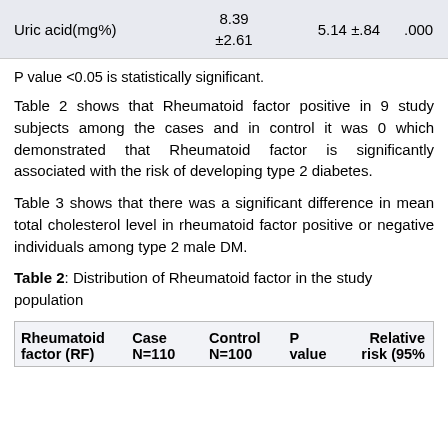|  |  | 8.39 ±2.61 | 5.14 ±.84 | .000 |
| --- | --- | --- | --- | --- |
| Uric acid(mg%) |  | 8.39
±2.61 | 5.14 ±.84 | .000 |
P value <0.05 is statistically significant.
Table 2 shows that Rheumatoid factor positive in 9 study subjects among the cases and in control it was 0 which demonstrated that Rheumatoid factor is significantly associated with the risk of developing type 2 diabetes.
Table 3 shows that there was a significant difference in mean total cholesterol level in rheumatoid factor positive or negative individuals among type 2 male DM.
Table 2: Distribution of Rheumatoid factor in the study population
| Rheumatoid factor (RF) | Case N=110 | Control N=100 | P value | Relative risk (95% |
| --- | --- | --- | --- | --- |